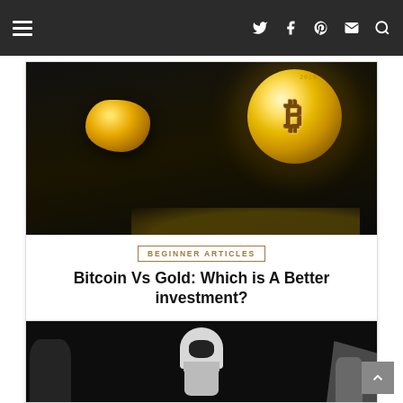Navigation bar with hamburger menu and social icons
[Figure (photo): Bitcoin coin and gold nugget on dark background]
BEGINNER ARTICLES
Bitcoin Vs Gold: Which is A Better investment?
[Figure (photo): Dark image with hooded figures, cybersecurity theme]